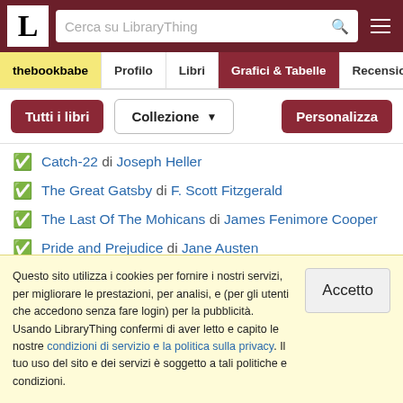LibraryThing - Cerca su LibraryThing
thebookbabe | Profilo | Libri | Grafici & Tabelle | Recensioni
Tutti i libri | Collezione | Personalizza
Catch-22 di Joseph Heller
The Great Gatsby di F. Scott Fitzgerald
The Last Of The Mohicans di James Fenimore Cooper
Pride and Prejudice di Jane Austen
A Study in Scarlet di Sir Arthur Conan Doyle
100 Books to Read in a Lifetime (Russo)
Questo sito utilizza i cookies per fornire i nostri servizi, per migliorare le prestazioni, per analisi, e (per gli utenti che accedono senza fare login) per la pubblicità. Usando LibraryThing confermi di aver letto e capito le nostre condizioni di servizio e la politica sulla privacy. Il tuo uso del sito e dei servizi è soggetto a tali politiche e condizioni.